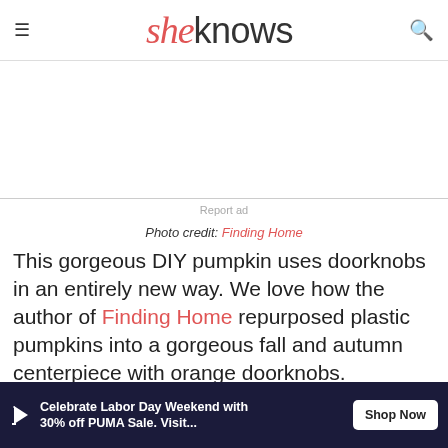sheknows
[Figure (other): Advertisement banner area (blank/white space)]
Report ad
Photo credit: Finding Home
This gorgeous DIY pumpkin uses doorknobs in an entirely new way. We love how the author of Finding Home repurposed plastic pumpkins into a gorgeous fall and autumn centerpiece with orange doorknobs.
[Figure (other): Advertisement banner: Celebrate Labor Day Weekend with 30% off PUMA Sale. Visit... Shop Now]